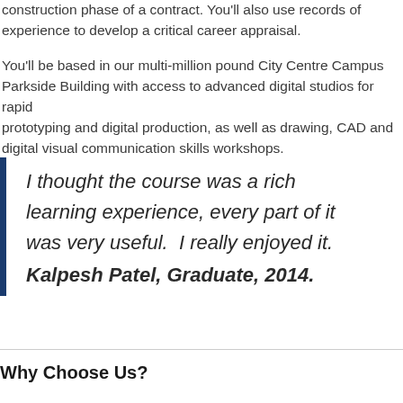construction phase of a contract. You'll also use records of experience to develop a critical career appraisal.
You'll be based in our multi-million pound City Centre Campus Parkside Building with access to advanced digital studios for rapid prototyping and digital production, as well as drawing, CAD and digital visual communication skills workshops.
I thought the course was a rich learning experience, every part of it was very useful.  I really enjoyed it. Kalpesh Patel, Graduate, 2014.
Why Choose Us?